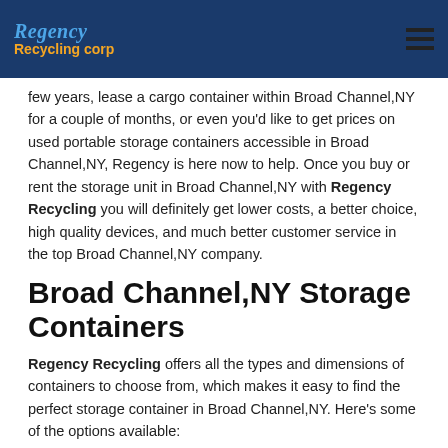Regency Recycling Corp
few years, lease a cargo container within Broad Channel,NY for a couple of months, or even you'd like to get prices on used portable storage containers accessible in Broad Channel,NY, Regency is here now to help. Once you buy or rent the storage unit in Broad Channel,NY with Regency Recycling you will definitely get lower costs, a better choice, high quality devices, and much better customer service in the top Broad Channel,NY company.
Broad Channel,NY Storage Containers
Regency Recycling offers all the types and dimensions of containers to choose from, which makes it easy to find the perfect storage container in Broad Channel,NY. Here's some of the options available:
10-54' Storage Containers
Cargo Containers
Extra Wide Storage Containers